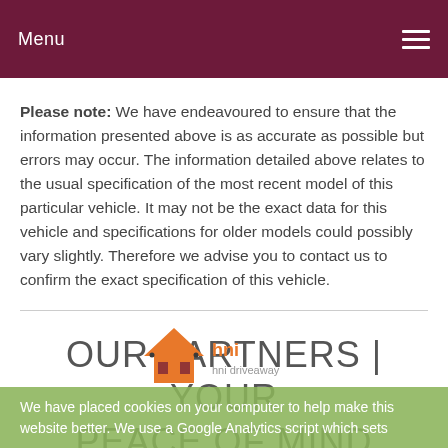Menu
Please note: We have endeavoured to ensure that the information presented above is as accurate as possible but errors may occur. The information detailed above relates to the usual specification of the most recent model of this particular vehicle. It may not be the exact data for this vehicle and specifications for older models could possibly vary slightly. Therefore we advise you to contact us to confirm the exact specification of this vehicle.
OUR PARTNERS | YOUR PEACE OF MIND
[Figure (logo): HNI Driveaway logo — orange house icon with dark window details and text 'hni' and 'hni driveaway' in orange and grey]
We have placed cookies on your computer to help make this website better. We use a Google Analytics script which sets